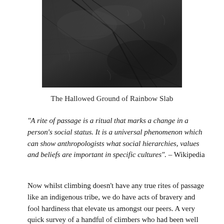[Figure (photo): Close-up photograph of dark grey/black rock face showing texture and natural cracks and grooves in the stone surface, cropped at the top of the page.]
The Hallowed Ground of Rainbow Slab
“A rite of passage is a ritual that marks a change in a person’s social status. It is a universal phenomenon which can show anthropologists what social hierarchies, values and beliefs are important in specific cultures”. – Wikipedia
Now whilst climbing doesn’t have any true rites of passage like an indigenous tribe, we do have acts of bravery and fool hardiness that elevate us amongst our peers. A very quick survey of a handful of climbers who had been well oiled with wine and